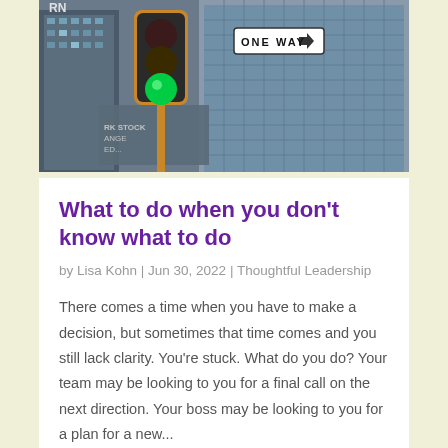[Figure (photo): Urban street photo showing a yellow traffic light with green light lit, a ONE WAY sign, and tall glass office buildings including the New York Stock Exchange in the background.]
What to do when you don't know what to do
by Lisa Kohn | Jun 30, 2022 | Thoughtful Leadership
There comes a time when you have to make a decision, but sometimes that time comes and you still lack clarity. You're stuck. What do you do? Your team may be looking to you for a final call on the next direction. Your boss may be looking to you for a plan for a new...